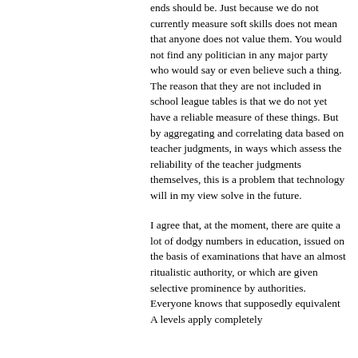ends should be. Just because we do not currently measure soft skills does not mean that anyone does not value them. You would not find any politician in any major party who would say or even believe such a thing. The reason that they are not included in school league tables is that we do not yet have a reliable measure of these things. But by aggregating and correlating data based on teacher judgments, in ways which assess the reliability of the teacher judgments themselves, this is a problem that technology will in my view solve in the future.
I agree that, at the moment, there are quite a lot of dodgy numbers in education, issued on the basis of examinations that have an almost ritualistic authority, or which are given selective prominence by authorities. Everyone knows that supposedly equivalent A levels apply completely